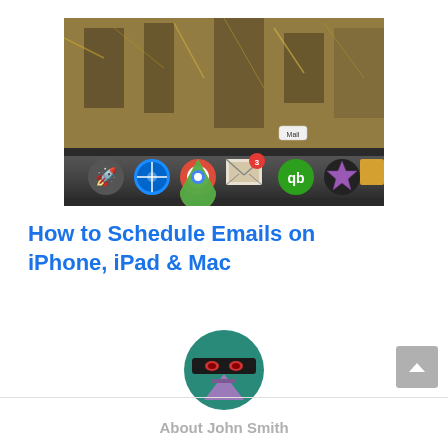[Figure (screenshot): Mac dock screenshot showing app icons including Rocket, Safari, Chrome, Mail (with badge showing 3 notifications), QuickBooks, iMovie star, and another app. Tooltip showing 'Mail' above the Mail icon. Background is dry grass/nature scene.]
How to Schedule Emails on iPhone, iPad & Mac
[Figure (illustration): Circular avatar/profile image with teal/green background showing a cartoon purple triangular character with angry expression and glasses-like eyes on a dark horizontal band.]
About John Smith